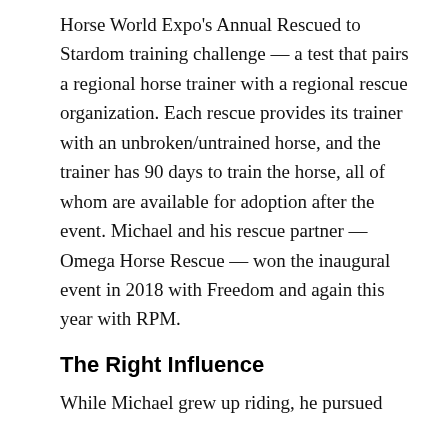Horse World Expo's Annual Rescued to Stardom training challenge — a test that pairs a regional horse trainer with a regional rescue organization. Each rescue provides its trainer with an unbroken/untrained horse, and the trainer has 90 days to train the horse, all of whom are available for adoption after the event. Michael and his rescue partner — Omega Horse Rescue — won the inaugural event in 2018 with Freedom and again this year with RPM.
The Right Influence
While Michael grew up riding, he pursued